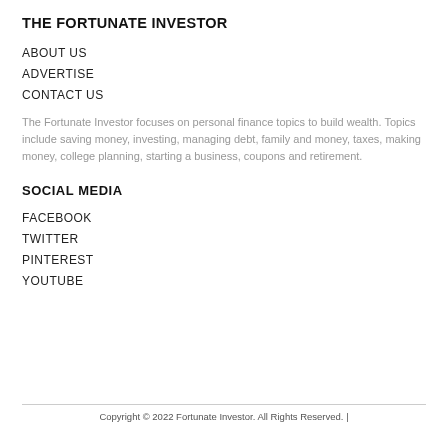THE FORTUNATE INVESTOR
ABOUT US
ADVERTISE
CONTACT US
The Fortunate Investor focuses on personal finance topics to build wealth. Topics include saving money, investing, managing debt, family and money, taxes, making money, college planning, starting a business, coupons and retirement.
SOCIAL MEDIA
FACEBOOK
TWITTER
PINTEREST
YOUTUBE
Copyright © 2022 Fortunate Investor. All Rights Reserved. |